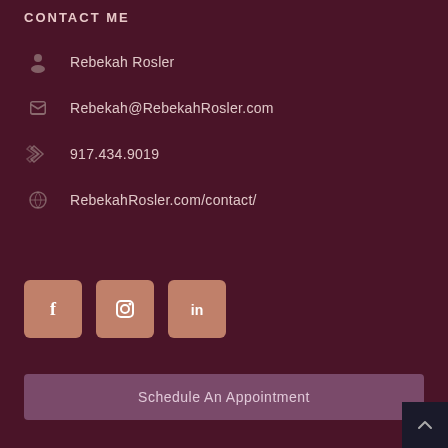CONTACT ME
Rebekah Rosler
917.434.9019
Rebekah@RebekahRosler.com
RebekahRosler.com/contact/
[Figure (illustration): Three social media icon buttons (Facebook, Instagram, LinkedIn) with rounded square shape in terracotta/rose color]
Schedule An Appointment